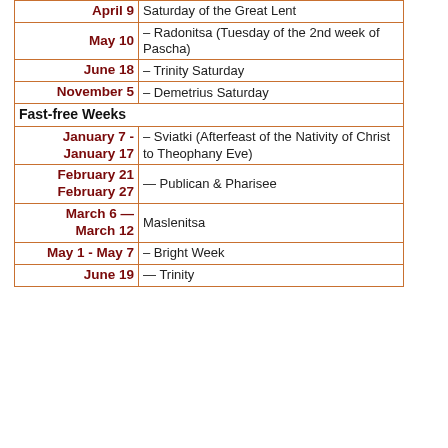| Date | Description |
| --- | --- |
| April 9 | Saturday of the Great Lent |
| May 10 | – Radonitsa (Tuesday of the 2nd week of Pascha) |
| June 18 | – Trinity Saturday |
| November 5 | – Demetrius Saturday |
Fast-free Weeks
| Date | Description |
| --- | --- |
| January 7 - January 17 | – Sviatki (Afterfeast of the Nativity of Christ to Theophany Eve) |
| February 21 February 27 | — Publican & Pharisee |
| March 6 — March 12 | Maslenitsa |
| May 1 - May 7 | – Bright Week |
| June 19 | — Trinity |